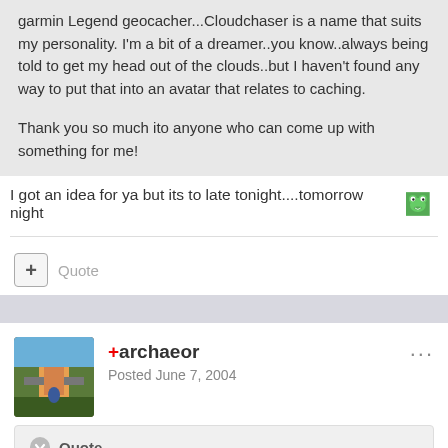garmin Legend geocacher...Cloudchaser is a name that suits my personality. I'm a bit of a dreamer..you know..always being told to get my head out of the clouds..but I haven't found any way to put that into an avatar that relates to caching.

Thank you so much ito anyone who can come up with something for me!
I got an idea for ya but its to late tonight....tomorrow night 🐸
Quote
+archaeor
Posted June 7, 2004
"Please don't make derivatives of the logo. Legal mumbo jumbo